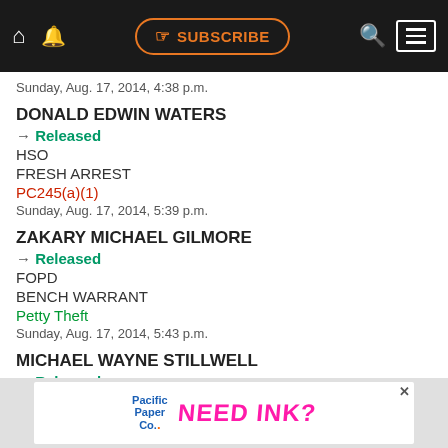[Figure (screenshot): Website navigation bar with home icon, bell icon, orange Subscribe button, search icon, and hamburger menu on dark background]
Sunday, Aug. 17, 2014, 4:38 p.m.
DONALD EDWIN WATERS
→ Released
HSO
FRESH ARREST
PC245(a)(1)
Sunday, Aug. 17, 2014, 5:39 p.m.
ZAKARY MICHAEL GILMORE
→ Released
FOPD
BENCH WARRANT
Petty Theft
Sunday, Aug. 17, 2014, 5:43 p.m.
MICHAEL WAYNE STILLWELL
→ Released
[Figure (screenshot): Advertisement banner: Pacific Paper Co. — NEED INK?]